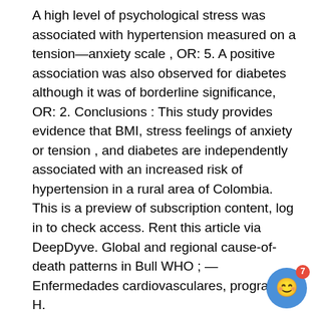A high level of psychological stress was associated with hypertension measured on a tension—anxiety scale , OR: 5. A positive association was also observed for diabetes although it was of borderline significance, OR: 2. Conclusions : This study provides evidence that BMI, stress feelings of anxiety or tension , and diabetes are independently associated with an increased risk of hypertension in a rural area of Colombia. This is a preview of subscription content, log in to check access. Rent this article via DeepDyve. Global and regional cause-of-death patterns in Bull WHO ; — Enfermedades cardiovasculares, programa H. Vol Julio-Septiembre. Antioquia: Servicio Sercional de Salud, Hypertension as a cardiovascular risk factor. In: Bulpitt CJ ed. Handbook of Hypertension, Vol. New York: Elsevier Science Publishers, ; 15— Gincbra: OMS, Arch Intern Med ; — WHO Expert Committee. Arterial hypertension. Tech Rep Ser Geneve: World Health Organization, Statistical Methods in Cancer